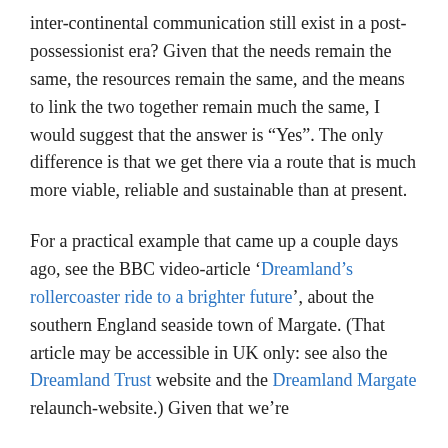inter-continental communication still exist in a post-possessionist era? Given that the needs remain the same, the resources remain the same, and the means to link the two together remain much the same, I would suggest that the answer is “Yes”. The only difference is that we get there via a route that is much more viable, reliable and sustainable than at present.
For a practical example that came up a couple days ago, see the BBC video-article ‘Dreamland’s rollercoaster ride to a brighter future’, about the southern England seaside town of Margate. (That article may be accessible in UK only: see also the Dreamland Trust website and the Dreamland Margate relaunch-website.) Given that we’re